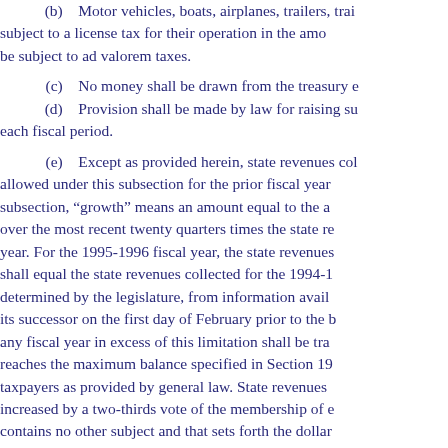(b) Motor vehicles, boats, airplanes, trailers, trai... subject to a license tax for their operation in the amo... be subject to ad valorem taxes.
(c) No money shall be drawn from the treasury e...
(d) Provision shall be made by law for raising su... each fiscal period.
(e) Except as provided herein, state revenues col... allowed under this subsection for the prior fiscal year... subsection, "growth" means an amount equal to the a... over the most recent twenty quarters times the state re... year. For the 1995-1996 fiscal year, the state revenues... shall equal the state revenues collected for the 1994-1... determined by the legislature, from information avail... its successor on the first day of February prior to the b... any fiscal year in excess of this limitation shall be tra... reaches the maximum balance specified in Section 19... taxpayers as provided by general law. State revenues... increased by a two-thirds vote of the membership of e... contains no other subject and that sets forth the dollar... increased. The vote may not be taken less than sevent... purposes of this subsection, "state revenues" means ta... the legislature on individuals, businesses, or agencies... does not include revenues that are necessary to ma...